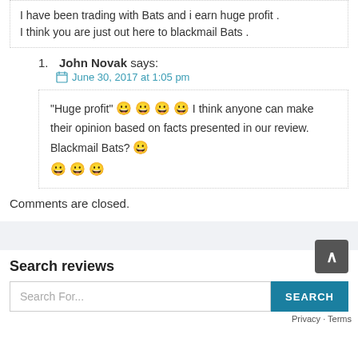I have been trading with Bats and i earn huge profit . I think you are just out here to blackmail Bats .
John Novak says:
June 30, 2017 at 1:05 pm
“Huge profit” 😀 😀 😀 😀 I think anyone can make their opinion based on facts presented in our review. Blackmail Bats? 😀 😀 😀 😀
Comments are closed.
Search reviews
Search For...